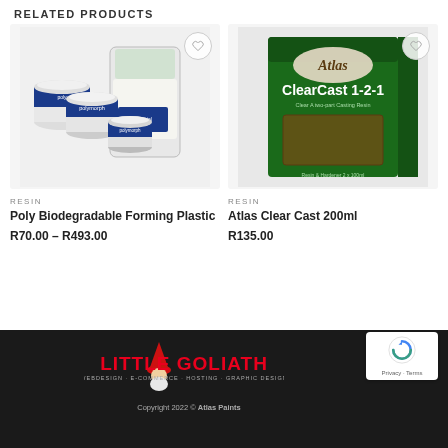RELATED PRODUCTS
[Figure (photo): Polymorph poly biodegradable forming plastic product — multiple jars and a resealable bag with white granules, navy blue labels]
RESIN
Poly Biodegradable Forming Plastic
R70.00 – R493.00
[Figure (photo): Atlas ClearCast 1-2-1 clear casting resin product box, green packaging, Resin & Hardener 2x100ml]
RESIN
Atlas Clear Cast 200ml
R135.00
[Figure (logo): Little Goliath logo with gnome character wearing red hat, red text LITTLE GOLIATH, tagline WEBDESIGN · E-COMMERCE · HOSTING · GRAPHIC DESIGN]
Copyright 2022 © Atlas Paints